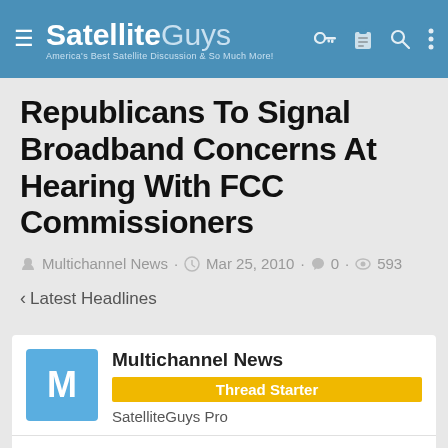SatelliteGuys — America's Best Satellite Discussion & So Much More!
Republicans To Signal Broadband Concerns At Hearing With FCC Commissioners
Multichannel News · Mar 25, 2010 · 0 · 593
< Latest Headlines
Multichannel News
Thread Starter
SatelliteGuys Pro
Mar 25, 2010  < #1
Republicans have signaled their major concerns, and likely lines of questioning, about the